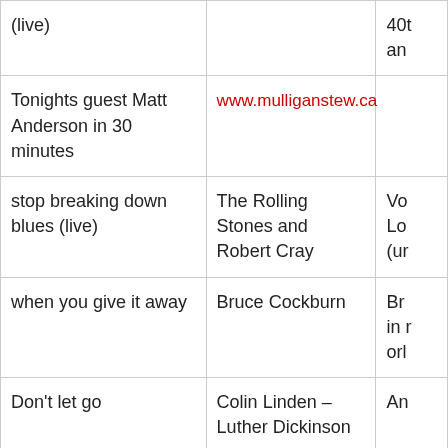| (live) |  | 40t
an |
| Tonights guest Matt Anderson in 30 minutes | www.mulliganstew.ca |  |
| stop breaking down blues (live) | The Rolling Stones and Robert Cray | Vo Lo (ur |
| when you give it away | Bruce Cockburn | Br in r orl |
| Don't let go | Colin Linden – Luther Dickinson | An |
| TD Mulligan – The Stew | Matt Anderson guests in 15 minutes |  |